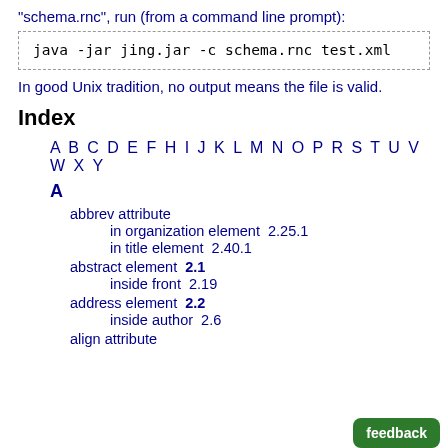"schema.rnc", run (from a command line prompt):
In good Unix tradition, no output means the file is valid.
Index
A B C D E F H I J K L M N O P R S T U V W X Y
A
abbrev attribute
in organization element  2.25.1
in title element  2.40.1
abstract element  2.1
inside front  2.19
address element  2.2
inside author  2.6
align attribute